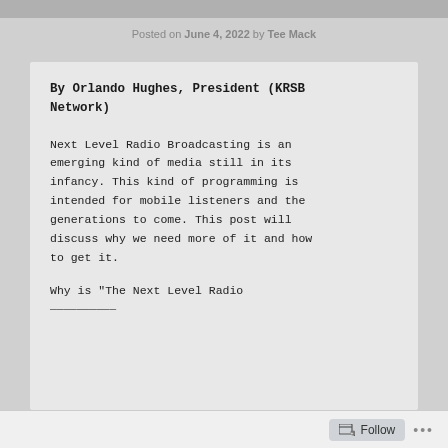Posted on June 4, 2022 by Tee Mack
By Orlando Hughes, President (KRSB Network)
Next Level Radio Broadcasting is an emerging kind of media still in its infancy. This kind of programming is intended for mobile listeners and the generations to come. This post will discuss why we need more of it and how to get it.
Why is "The Next Level Radio
Follow ...